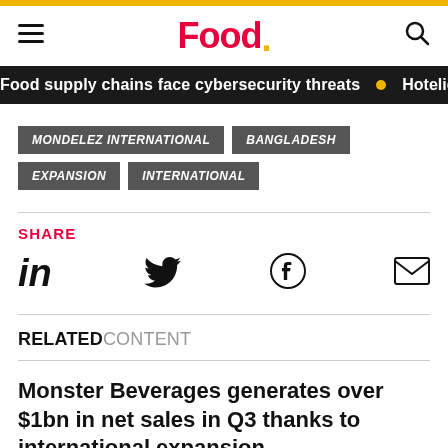Food.
Food supply chains face cybersecurity threats • Hotelie
MONDELEZ INTERNATIONAL  BANGLADESH  EXPANSION  INTERNATIONAL
SHARE
[Figure (infographic): Social share icons: LinkedIn (in), Twitter bird, Facebook (f), email envelope]
RELATED CONTENT
Monster Beverages generates over $1bn in net sales in Q3 thanks to international expansion